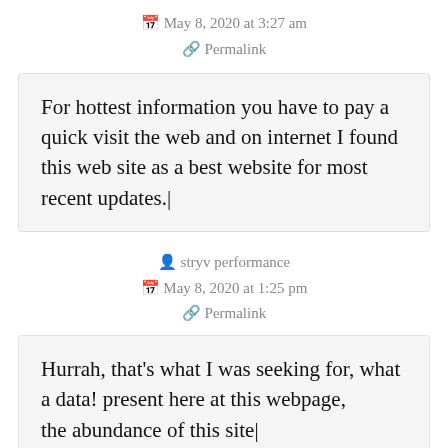📅 May 8, 2020 at 3:27 am
🔗 Permalink
For hottest information you have to pay a quick visit the web and on internet I found this web site as a best website for most recent updates.
👤 stryv performance
📅 May 8, 2020 at 1:25 pm
🔗 Permalink
Hurrah, that's what I was seeking for, what a data! present here at this webpage, the abundance of this site...